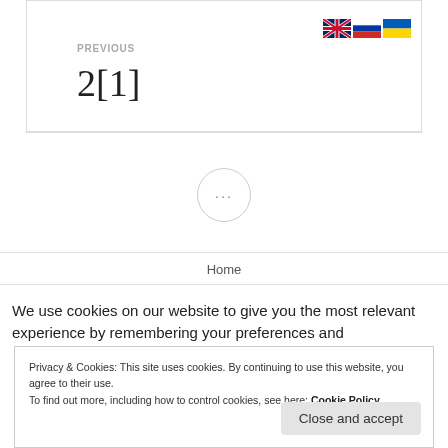[Figure (illustration): Three country flag icons: UK, Russia, Ukraine]
PREVIOUS
2[1]
[Figure (other): Circle button with three dots (ellipsis) ···]
Home
We use cookies on our website to give you the most relevant experience by remembering your preferences and
Privacy & Cookies: This site uses cookies. By continuing to use this website, you agree to their use.
To find out more, including how to control cookies, see here: Cookie Policy
Close and accept